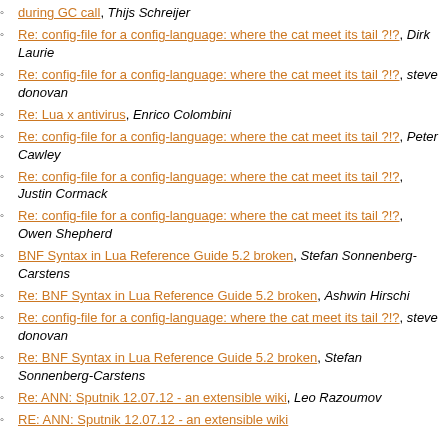during GC call, Thijs Schreijer
Re: config-file for a config-language: where the cat meet its tail ?!?, Dirk Laurie
Re: config-file for a config-language: where the cat meet its tail ?!?, steve donovan
Re: Lua x antivirus, Enrico Colombini
Re: config-file for a config-language: where the cat meet its tail ?!?, Peter Cawley
Re: config-file for a config-language: where the cat meet its tail ?!?, Justin Cormack
Re: config-file for a config-language: where the cat meet its tail ?!?, Owen Shepherd
BNF Syntax in Lua Reference Guide 5.2 broken, Stefan Sonnenberg-Carstens
Re: BNF Syntax in Lua Reference Guide 5.2 broken, Ashwin Hirschi
Re: config-file for a config-language: where the cat meet its tail ?!?, steve donovan
Re: BNF Syntax in Lua Reference Guide 5.2 broken, Stefan Sonnenberg-Carstens
Re: ANN: Sputnik 12.07.12 - an extensible wiki, Leo Razoumov
RE: ANN: Sputnik 12.07.12 - an extensible wiki